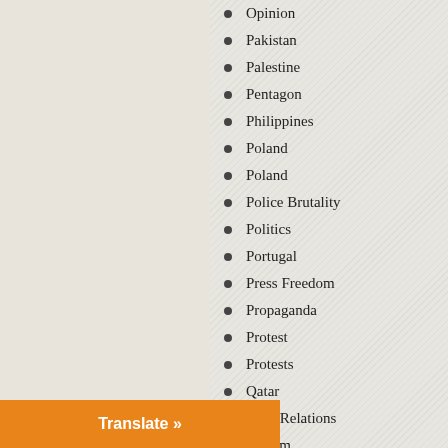Opinion
Pakistan
Palestine
Pentagon
Philippines
Poland
Poland
Police Brutality
Politics
Portugal
Press Freedom
Propaganda
Protest
Protests
Qatar
Race Relations
Racism
Religion
Right Wing
Translate »